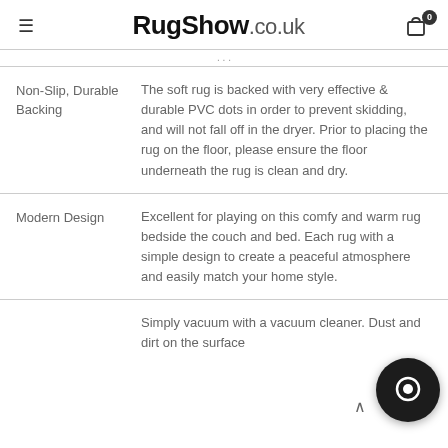RugShow.co.uk
| Feature | Description |
| --- | --- |
| Non-Slip, Durable Backing | The soft rug is backed with very effective & durable PVC dots in order to prevent skidding, and will not fall off in the dryer. Prior to placing the rug on the floor, please ensure the floor underneath the rug is clean and dry. |
| Modern Design | Excellent for playing on this comfy and warm rug bedside the couch and bed. Each rug with a simple design to create a peaceful atmosphere and easily match your home style. |
| (partial) | Simply vacuum with a vacuum cleaner. Dust and dirt on the surface |